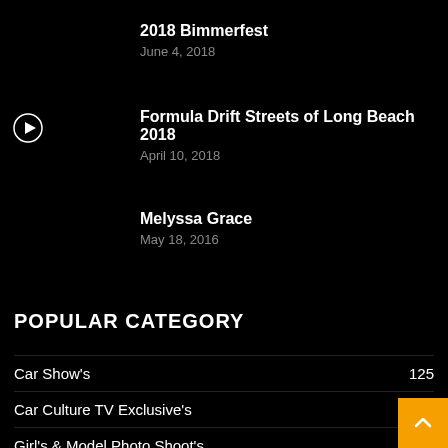2018 Bimmerfest
June 4, 2018
Formula Drift Streets of Long Beach 2018
April 10, 2018
Melyssa Grace
May 18, 2016
POPULAR CATEGORY
Car Show's     125
Car Culture TV Exclusive's
Girl's & Model Photo Shoot's     65